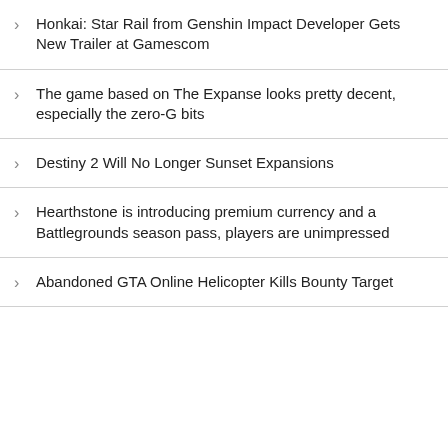Honkai: Star Rail from Genshin Impact Developer Gets New Trailer at Gamescom
The game based on The Expanse looks pretty decent, especially the zero-G bits
Destiny 2 Will No Longer Sunset Expansions
Hearthstone is introducing premium currency and a Battlegrounds season pass, players are unimpressed
Abandoned GTA Online Helicopter Kills Bounty Target